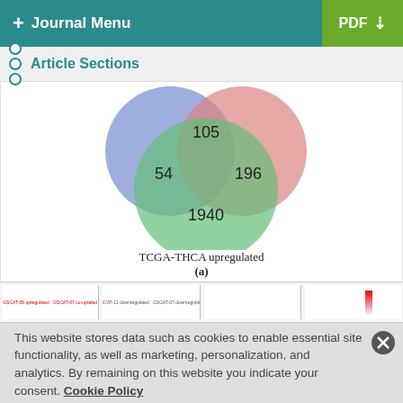+ Journal Menu | PDF ⬇
Article Sections
[Figure (other): Venn diagram showing three overlapping circles (blue, pink, green) with values 105 (top overlap), 54 (left overlap), 196 (right overlap), 1940 (bottom/green unique). Label: TCGA-THCA upregulated. Subcaption: (a)]
TCGA-THCA upregulated
(a)
[Figure (other): Thumbnail strip showing four small figure previews at bottom of page]
This website stores data such as cookies to enable essential site functionality, as well as marketing, personalization, and analytics. By remaining on this website you indicate your consent. Cookie Policy